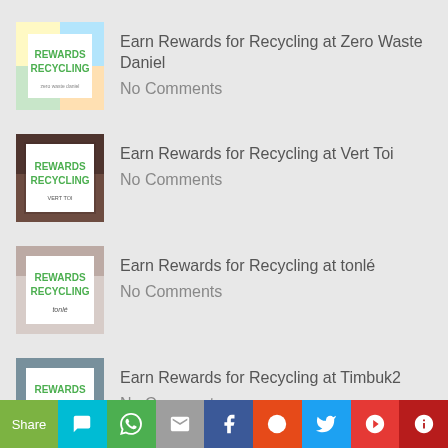Earn Rewards for Recycling at Zero Waste Daniel
No Comments
Earn Rewards for Recycling at Vert Toi
No Comments
Earn Rewards for Recycling at tonlé
No Comments
Earn Rewards for Recycling at Timbuk2
No Comments